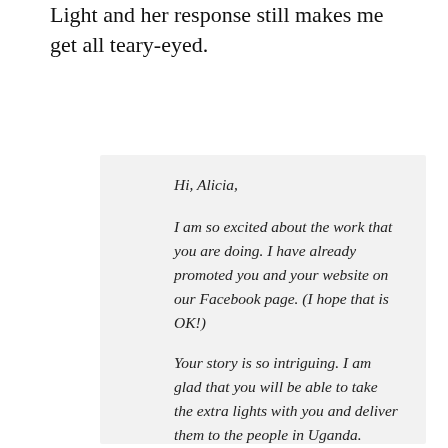Light and her response still makes me get all teary-eyed.
Hi, Alicia,

I am so excited about the work that you are doing. I have already promoted you and your website on our Facebook page. (I hope that is OK!)

Your story is so intriguing. I am glad that you will be able to take the extra lights with you and deliver them to the people in Uganda.